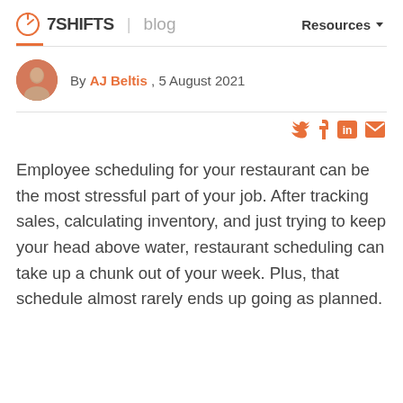7SHIFTS | blog   Resources
By AJ Beltis , 5 August 2021
Employee scheduling for your restaurant can be the most stressful part of your job. After tracking sales, calculating inventory, and just trying to keep your head above water, restaurant scheduling can take up a chunk out of your week. Plus, that schedule almost rarely ends up going as planned.